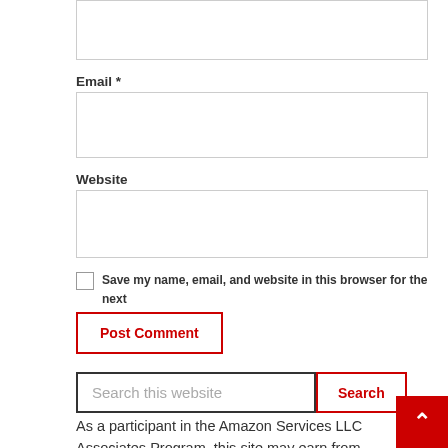Email *
Website
Save my name, email, and website in this browser for the next time I comment.
Post Comment
Search this website
Search
As a participant in the Amazon Services LLC Associates Program, this site may earn from qualifying purchases. We may also earn commissions on purchases from other